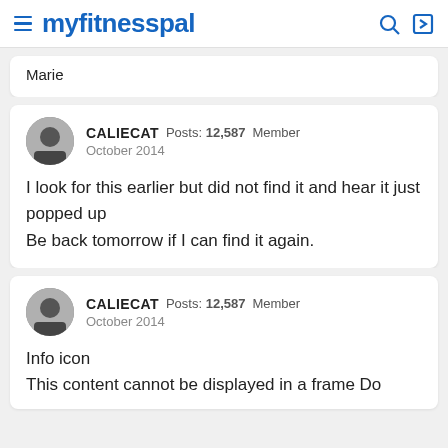myfitnesspal
Marie
CALIECAT Posts: 12,587 Member
October 2014

I look for this earlier but did not find it and hear it just popped up
Be back tomorrow if I can find it again.
CALIECAT Posts: 12,587 Member
October 2014

Info icon
This content cannot be displayed in a frame Do